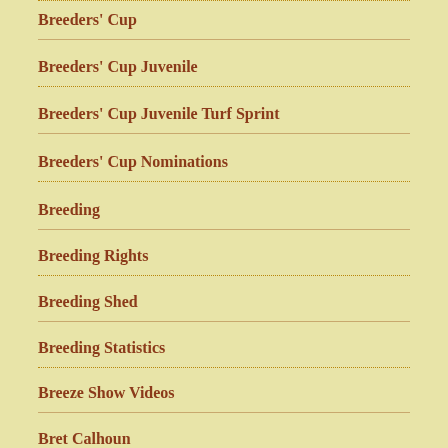Breeders' Cup
Breeders' Cup Juvenile
Breeders' Cup Juvenile Turf Sprint
Breeders' Cup Nominations
Breeding
Breeding Rights
Breeding Shed
Breeding Statistics
Breeze Show Videos
Bret Calhoun